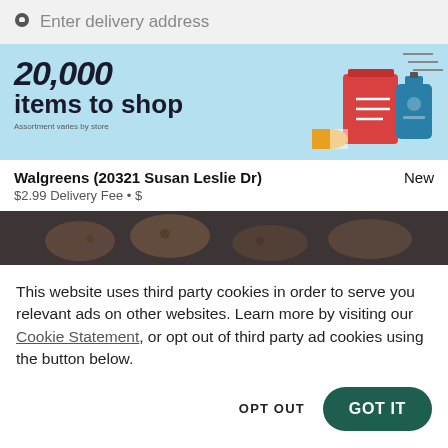Enter delivery address
[Figure (illustration): Promotional banner showing '...items to shop' text on a light blue background with illustrated product icons (cologne, book/clipboard, pill bottle) on the right side. Small text: 'Assortment varies by store'.]
Walgreens (20321 Susan Leslie Dr)
$2.99 Delivery Fee • $
New
[Figure (photo): Partial photo strip showing food items (cookies/baked goods) on a dark background, partially cropped.]
This website uses third party cookies in order to serve you relevant ads on other websites. Learn more by visiting our Cookie Statement, or opt out of third party ad cookies using the button below.
OPT OUT
GOT IT